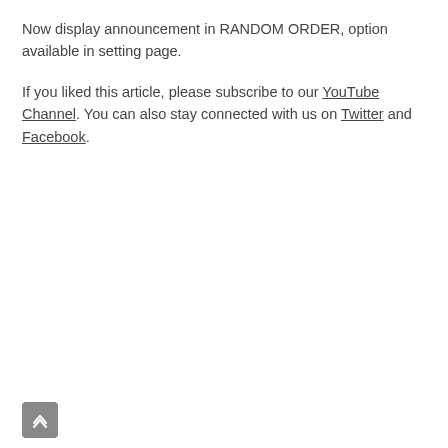Now display announcement in RANDOM ORDER, option available in setting page.
If you liked this article, please subscribe to our YouTube Channel. You can also stay connected with us on Twitter and Facebook.